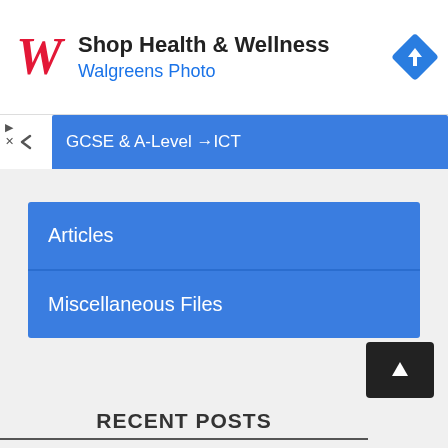[Figure (other): Walgreens ad banner with Walgreens script logo, text 'Shop Health & Wellness' and 'Walgreens Photo', and a blue direction arrow icon on the right.]
GCSE & A-Level → ICT
Articles
Miscellaneous Files
RECENT POSTS